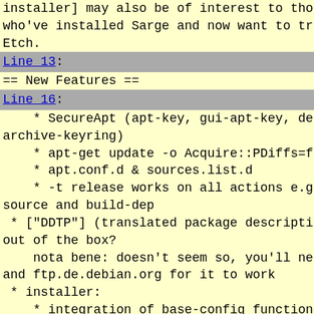installer] may also be of interest to those who've installed Sarge and now want to try Etch.
Line 13:
== New Features ==
Line 16:
* SecureApt (apt-key, gui-apt-key, debian-archive-keyring)
* apt-get update -o Acquire::PDiffs=fa
* apt.conf.d & sources.list.d
* -t release works on all actions e.g source and build-dep
* ["DDTP"] (translated package descriptions out of the box?
nota bene: doesn't seem so, you'll need and ftp.de.debian.org for it to work
* installer:
* integration of base-config functional into the installer